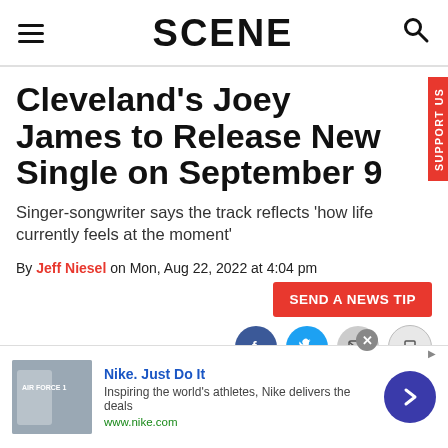SCENE
Cleveland's Joey James to Release New Single on September 9
Singer-songwriter says the track reflects 'how life currently feels at the moment'
By Jeff Niesel on Mon, Aug 22, 2022 at 4:04 pm
[Figure (other): SEND A NEWS TIP button and social sharing icons for Facebook, Twitter, email, and print]
[Figure (other): Nike advertisement: Nike. Just Do It. Inspiring the world's athletes, Nike delivers the deals. www.nike.com]